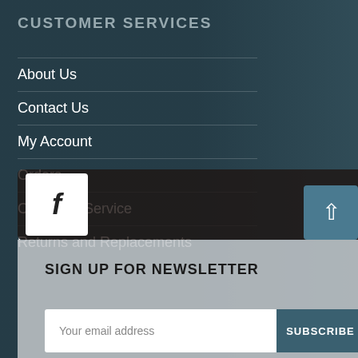CUSTOMER SERVICES
About Us
Contact Us
My Account
Orders
Customer Service
Returns and Replacements
[Figure (logo): Facebook icon (letter f) in white box on dark bar]
SIGN UP FOR NEWSLETTER
Your email address
SUBSCRIBE